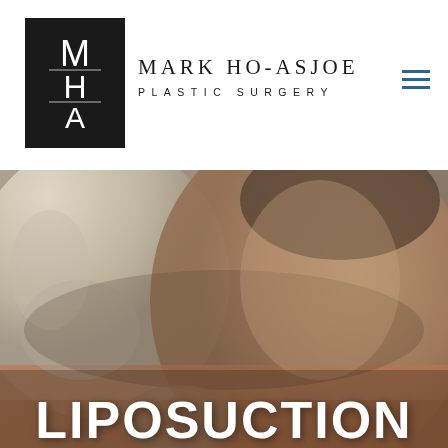[Figure (logo): MHA monogram logo — black square with stylized M, H, A letters in white]
MARK HO-ASJOE PLASTIC SURGERY
[Figure (photo): Close-up photo of a person's midsection/waist area wearing a white top and terracotta/tan shorts, showing body contour relevant to liposuction procedure]
LIPOSUCTION